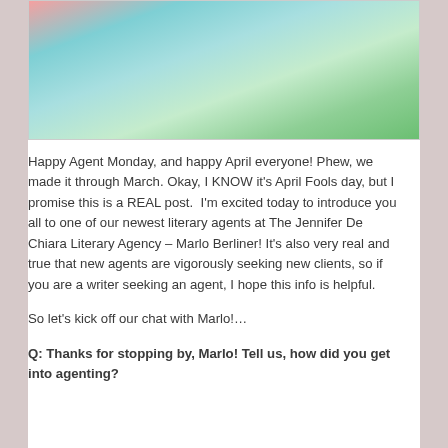[Figure (photo): Partial photo of a person wearing a light teal/mint colored top, cropped to show torso area. Background shows outdoor greenery.]
Happy Agent Monday, and happy April everyone! Phew, we made it through March. Okay, I KNOW it's April Fools day, but I promise this is a REAL post.  I'm excited today to introduce you all to one of our newest literary agents at The Jennifer De Chiara Literary Agency – Marlo Berliner! It's also very real and true that new agents are vigorously seeking new clients, so if you are a writer seeking an agent, I hope this info is helpful.
So let's kick off our chat with Marlo!…
Q: Thanks for stopping by, Marlo! Tell us, how did you get into agenting?